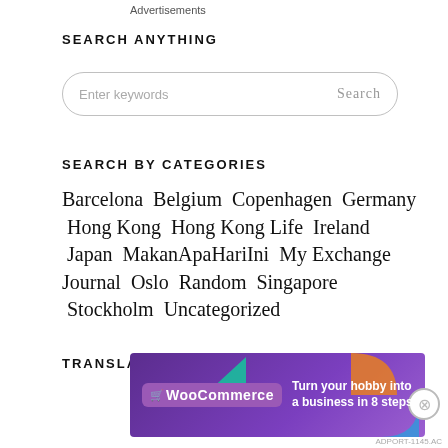SEARCH ANYTHING
[Figure (other): Search input box with placeholder 'Enter keywords' and 'Search' button, rounded rectangle border]
SEARCH BY CATEGORIES
Barcelona  Belgium  Copenhagen  Germany  Hong Kong  Hong Kong Life  Ireland  Japan  MakanApaHariIni  My Exchange Journal  Oslo  Random  Singapore  Stockholm  Uncategorized
TRANSLATE
[Figure (other): WooCommerce advertisement banner: 'Turn your hobby into a business in 8 steps' with purple background and colored shapes]
Advertisements